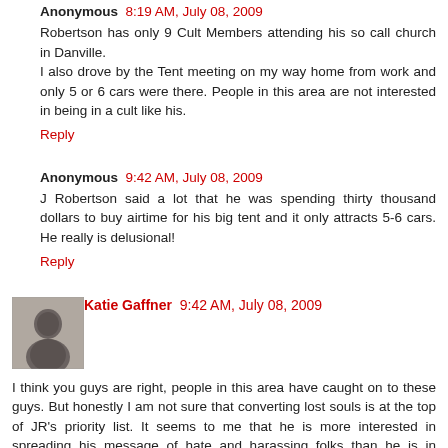Anonymous  8:19 AM, July 08, 2009
Robertson has only 9 Cult Members attending his so call church in Danville.
I also drove by the Tent meeting on my way home from work and only 5 or 6 cars were there. People in this area are not interested in being in a cult like his.
Reply
Anonymous  9:42 AM, July 08, 2009
J Robertson said a lot that he was spending thirty thousand dollars to buy airtime for his big tent and it only attracts 5-6 cars. He really is delusional!
Reply
[Figure (photo): Black and white avatar photo of Katie Gaffner]
Katie Gaffner  9:42 AM, July 08, 2009
I think you guys are right, people in this area have caught on to these guys. But honestly I am not sure that converting lost souls is at the top of JR's priority list. It seems to me that he is more interested in spreading his message of hate and harassing folks than he is in accomplishing any real "mission". At first I was bothered by JR enough that I wanted to debate him but I have realized over the course of the last year that JR is honestly a crazy person and not to be reasoned with or given the time of day. He's a dangerous man and if comes to my door or my church, the police will be contacted.